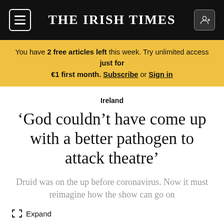THE IRISH TIMES
You have 2 free articles left this week. Try unlimited access just for €1 first month. Subscribe or Sign in
Ireland
‘God couldn’t have come up with a better pathogen to attack theatre’
Druid was on the up before coronavirus. Now it must reimagine how the show can go on
Expand
Garry Hynes: ‘You have to be an actor and be with other people’